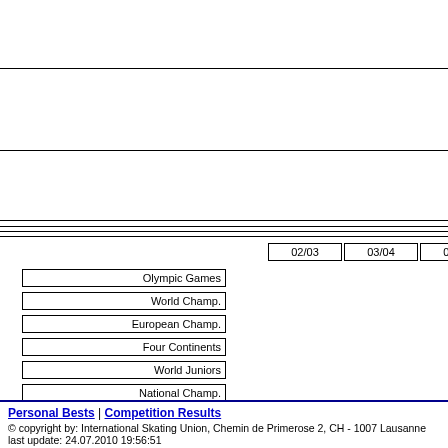|  | 02/03 | 03/04 | 04/05 | 05/06 | ... |
| --- | --- | --- | --- | --- | --- |
| Olympic Games |  |  |  |  |  |
| World Champ. |  |  |  |  |  |
| European Champ. |  |  |  |  |  |
| Four Continents |  |  |  |  |  |
| World Juniors |  |  |  |  |  |
| National Champ. |  |  |  |  |  |
S=Senior; J=Junior; N=Novice
| International Competition | Season | Place | Internation Co... |
| --- | --- | --- | --- |
| Tirnavia Ice Cup 2009 Trnava | 2009/2010 | 7. J | Ice Challeng... |
Personal Bests | Competition Results
© copyright by: International Skating Union, Chemin de Primerose 2, CH - 1007 Lausanne
last update: 24.07.2010 19:56:51